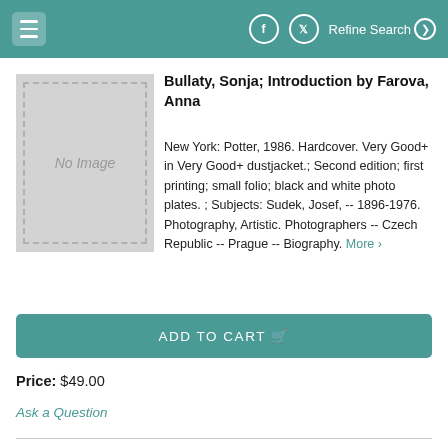Refine Search
[Figure (illustration): Book placeholder image with 'No Image' text in gray dashed border box]
Bullaty, Sonja; Introduction by Farova, Anna
New York: Potter, 1986. Hardcover. Very Good+ in Very Good+ dustjacket.; Second edition; first printing; small folio; black and white photo plates. ; Subjects: Sudek, Josef, -- 1896-1976. Photography, Artistic. Photographers -- Czech Republic -- Prague -- Biography. More ›
ADD TO CART
Price: $49.00
Ask a Question